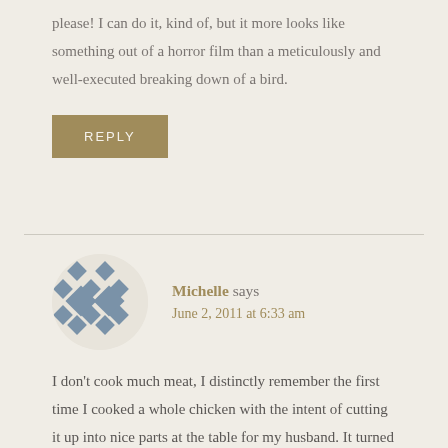please! I can do it, kind of, but it more looks like something out of a horror film than a meticulously and well-executed breaking down of a bird.
REPLY
Michelle says
June 2, 2011 at 6:33 am
I don't cook much meat, I distinctly remember the first time I cooked a whole chicken with the intent of cutting it up into nice parts at the table for my husband. It turned out perfect, until I had to carve it! Those instincts just did not come naturally to